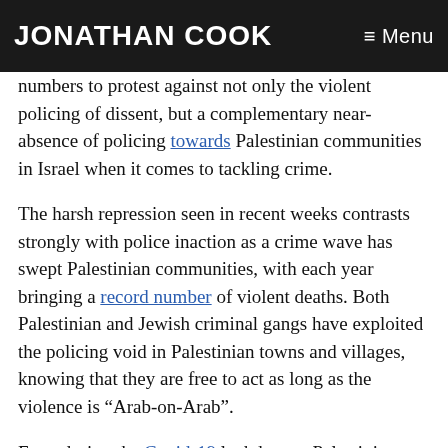JONATHAN COOK ≡ Menu
numbers to protest against not only the violent policing of dissent, but a complementary near-absence of policing towards Palestinian communities in Israel when it comes to tackling crime.
The harsh repression seen in recent weeks contrasts strongly with police inaction as a crime wave has swept Palestinian communities, with each year bringing a record number of violent deaths. Both Palestinian and Jewish criminal gangs have exploited the policing void in Palestinian towns and villages, knowing that they are free to act as long as the violence is “Arab-on-Arab”.
Even during the Covid-19 lockdowns, Palestinian community leaders kept up the pressure, leading go-slow convoys of dozens of cars along Israel’s busiest roads to draw attention to Israel’s interior cities...